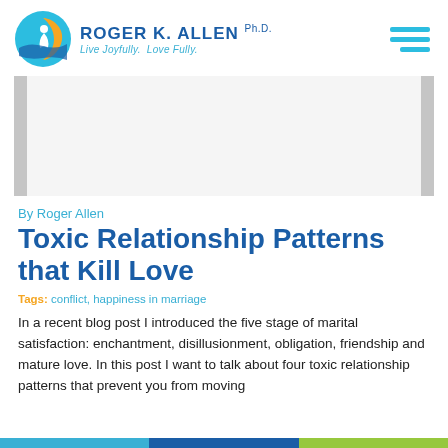Roger K. Allen Ph.D. — Live Joyfully. Love Fully.
[Figure (illustration): White banner/image placeholder with gray sidebar bars on left and right]
By Roger Allen
Toxic Relationship Patterns that Kill Love
Tags: conflict, happiness in marriage
In a recent blog post I introduced the five stage of marital satisfaction: enchantment, disillusionment, obligation, friendship and mature love. In this post I want to talk about four toxic relationship patterns that prevent you from moving